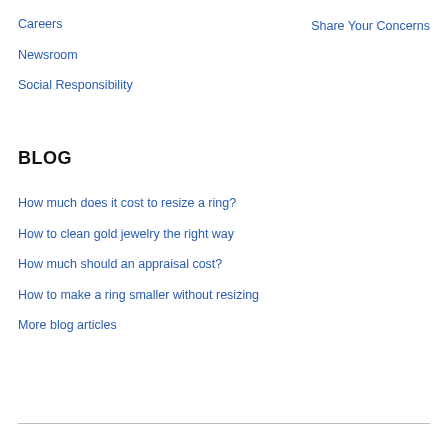Careers
Share Your Concerns
Newsroom
Social Responsibility
BLOG
How much does it cost to resize a ring?
How to clean gold jewelry the right way
How much should an appraisal cost?
How to make a ring smaller without resizing
More blog articles